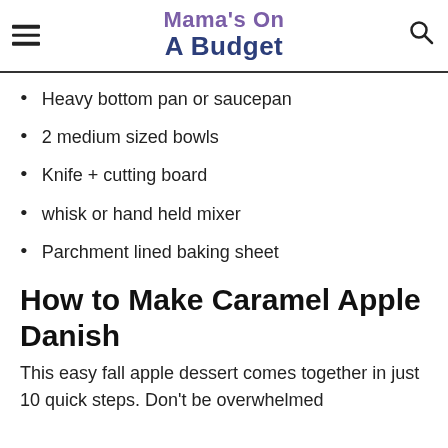Mama's On A Budget
Heavy bottom pan or saucepan
2 medium sized bowls
Knife + cutting board
whisk or hand held mixer
Parchment lined baking sheet
How to Make Caramel Apple Danish
This easy fall apple dessert comes together in just 10 quick steps. Don't be overwhelmed